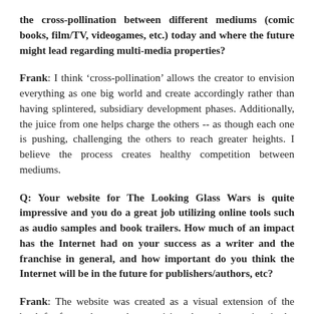the cross-pollination between different mediums (comic books, film/TV, videogames, etc.) today and where the future might lead regarding multi-media properties?
Frank: I think ‘cross-pollination’ allows the creator to envision everything as one big world and create accordingly rather than having splintered, subsidiary development phases. Additionally, the juice from one helps charge the others -- as though each one is pushing, challenging the others to reach greater heights. I believe the process creates healthy competition between mediums.
Q: Your website for The Looking Glass Wars is quite impressive and you do a great job utilizing online tools such as audio samples and book trailers. How much of an impact has the Internet had on your success as a writer and the franchise in general, and how important do you think the Internet will be in the future for publishers/authors, etc?
Frank: The website was created as a visual extension of the book for fans to have a place to visit and spend more time in the world and with the characters they had come to know. With this goal in mind, the website has been a brilliant means of disseminating